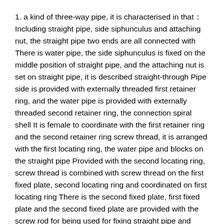1. a kind of three-way pipe, it is characterised in that：Including straight pipe, side siphunculus and attaching nut, the straight pipe two ends are all connected with There is water pipe, the side siphunculus is fixed on the middle position of straight pipe, and the attaching nut is set on straight pipe, it is described straight-through Pipe side is provided with externally threaded first retainer ring, and the water pipe is provided with externally threaded second retainer ring, the connection spiral shell It is female to coordinate with the first retainer ring and the second retainer ring screw thread, it is arranged with the first locating ring, the water pipe and blocks on the straight pipe Provided with the second locating ring, screw thread is combined with screw thread on the first fixed plate, second locating ring and coordinated on first locating ring There is the second fixed plate, first fixed plate and the second fixed plate are provided with the screw rod for being used for fixing straight pipe and water pipe, described It is provided with straight pipe and water pipe cooperation in sealing ring, the straight pipe and is provided with rubber ring, described rubber ring one end extends to water pipe It is interior, provided with an adpting flange at the side siphunculus upper end position, sealing gasket is provided with the upper surface location of the